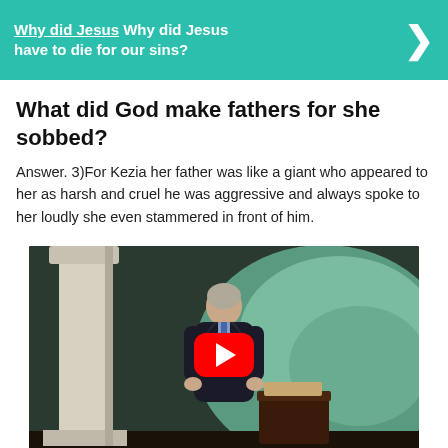[Figure (screenshot): Teal/green banner with underlined link text 'Why did Jesus have to die for our sins?' in white bold text and a right-arrow chevron on the right side]
What did God make fathers for she sobbed?
Answer. 3)For Kezia her father was like a giant who appeared to her as harsh and cruel he was aggressive and always spoke to her loudly she even stammered in front of him.
[Figure (screenshot): Video thumbnail showing an older man in a dark suit standing at a podium in a studio setting with a map background and white pillar. A red YouTube play button is overlaid in the center.]